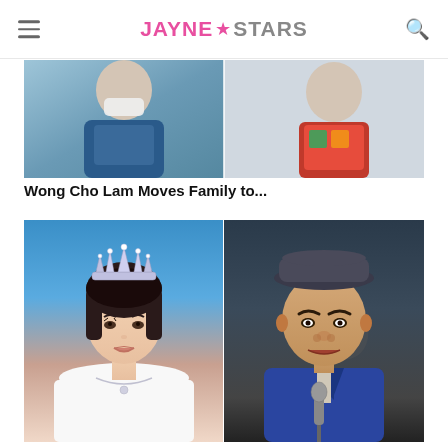Jayne Stars
[Figure (photo): Partial photo at top showing two people, left panel a person in mask with blue bag/jacket, right panel a person in red/colorful jacket. Article about Wong Cho Lam.]
Wong Cho Lam Moves Family to...
[Figure (photo): Two-panel photo: left shows a young woman wearing a diamond tiara and white off-shoulder dress with necklace against blue background; right shows a middle-aged man in dark hat and blue blazer holding a microphone.]